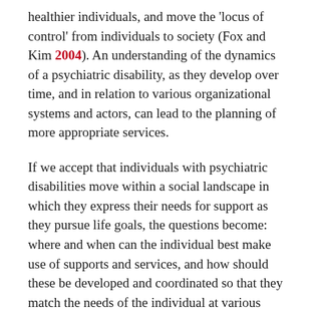healthier individuals, and move the 'locus of control' from individuals to society (Fox and Kim 2004). An understanding of the dynamics of a psychiatric disability, as they develop over time, and in relation to various organizational systems and actors, can lead to the planning of more appropriate services.
If we accept that individuals with psychiatric disabilities move within a social landscape in which they express their needs for support as they pursue life goals, the questions become: where and when can the individual best make use of supports and services, and how should these be developed and coordinated so that they match the needs of the individual at various points in their life? Social approaches must necessarily